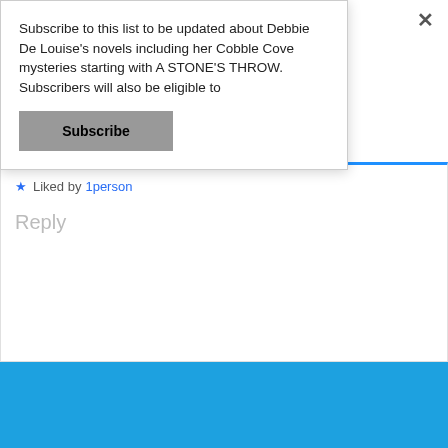Subscribe to this list to be updated about Debbie De Louise's novels including her Cobble Cove mysteries starting with A STONE'S THROW. Subscribers will also be eligible to
Subscribe
Liked by 1person
Reply
[Figure (logo): Small white and gold zigzag-edged book or stone shape icon on blue background]
[Figure (illustration): Bottom clapper board / book cover illustration strip with diagonal stripes in gray and blue]